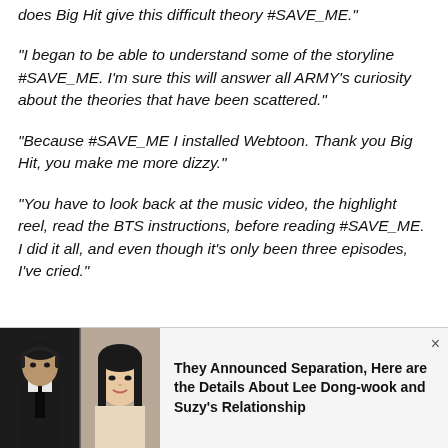does Big Hit give this difficult theory #SAVE_ME."
"I began to be able to understand some of the storyline #SAVE_ME. I'm sure this will answer all ARMY's curiosity about the theories that have been scattered."
"Because #SAVE_ME I installed Webtoon. Thank you Big Hit, you make me more dizzy."
"You have to look back at the music video, the highlight reel, read the BTS instructions, before reading #SAVE_ME. I did it all, and even though it's only been three episodes, I've cried."
[Figure (photo): A split image showing a man in a suit with headphones on the left and a woman on the right, representing Lee Dong-wook and Suzy]
They Announced Separation, Here are the Details About Lee Dong-wook and Suzy's Relationship